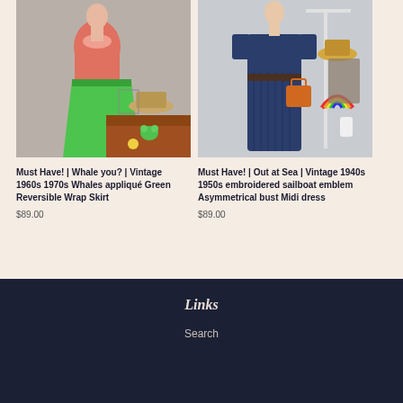[Figure (photo): Mannequin wearing a coral/salmon sleeveless top and bright green wrap skirt, displayed in a vintage-style shop setting with hats and decorations]
Must Have! | Whale you? | Vintage 1960s 1970s Whales appliqué Green Reversible Wrap Skirt
$89.00
[Figure (photo): Mannequin wearing a navy blue pleated midi dress with short sleeves, displayed next to clothing rack with rainbow decoration and accessories]
Must Have! | Out at Sea | Vintage 1940s 1950s embroidered sailboat emblem Asymmetrical bust Midi dress
$89.00
Links
Search